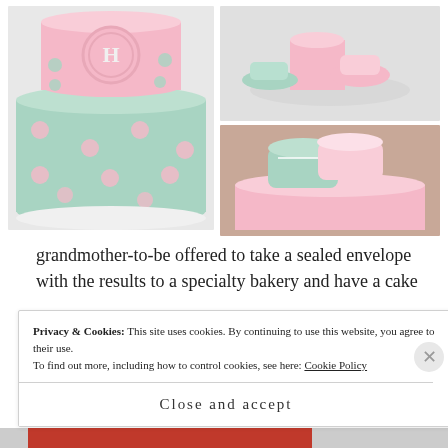[Figure (photo): Three photos of baby shower cakes. Left: large two-tier pink and mint polka dot cake with monogram H. Top right: small pink cake with fondant baby booties on a plate. Bottom right: pink and mint baby shower cake topper with fondant sneaker.]
grandmother-to-be offered to take a sealed envelope with the results to a specialty bakery and have a cake
Privacy & Cookies: This site uses cookies. By continuing to use this website, you agree to their use.
To find out more, including how to control cookies, see here: Cookie Policy
Close and accept